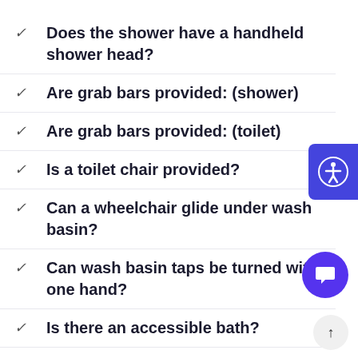Does the shower have a handheld shower head?
Are grab bars provided: (shower)
Are grab bars provided: (toilet)
Is a toilet chair provided?
Can a wheelchair glide under wash basin?
Can wash basin taps be turned with one hand?
Is there an accessible bath?
Is the microwave accessible from a